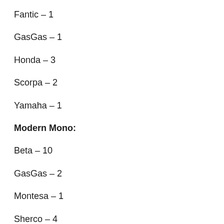Fantic – 1
GasGas – 1
Honda – 3
Scorpa – 2
Yamaha – 1
Modern Mono:
Beta – 10
GasGas – 2
Montesa – 1
Sherco – 4